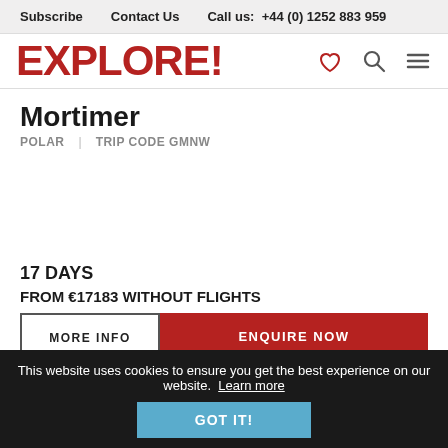Subscribe   Contact Us   Call us:  +44 (0) 1252 883 959
[Figure (logo): EXPLORE! logo in red bold font with heart, search, and hamburger menu icons]
Mortimer
POLAR   TRIP CODE GMNW
17 DAYS
FROM €17183 WITHOUT FLIGHTS
MORE INFO
ENQUIRE NOW
This website uses cookies to ensure you get the best experience on our website.  Learn more
GOT IT!